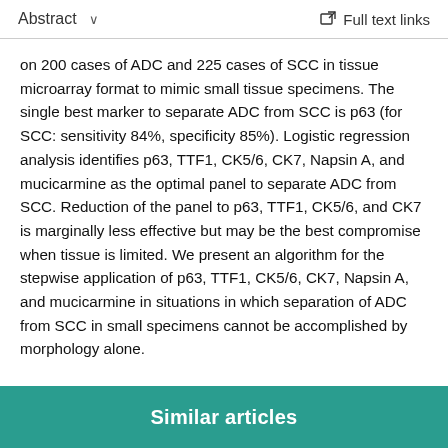Abstract  ∨   Full text links
on 200 cases of ADC and 225 cases of SCC in tissue microarray format to mimic small tissue specimens. The single best marker to separate ADC from SCC is p63 (for SCC: sensitivity 84%, specificity 85%). Logistic regression analysis identifies p63, TTF1, CK5/6, CK7, Napsin A, and mucicarmine as the optimal panel to separate ADC from SCC. Reduction of the panel to p63, TTF1, CK5/6, and CK7 is marginally less effective but may be the best compromise when tissue is limited. We present an algorithm for the stepwise application of p63, TTF1, CK5/6, CK7, Napsin A, and mucicarmine in situations in which separation of ADC from SCC in small specimens cannot be accomplished by morphology alone.
Similar articles